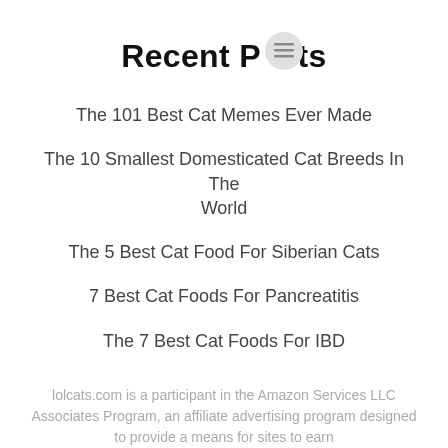Recent Posts
The 101 Best Cat Memes Ever Made
The 10 Smallest Domesticated Cat Breeds In The World
The 5 Best Cat Food For Siberian Cats
7 Best Cat Foods For Pancreatitis
The 7 Best Cat Foods For IBD
lolcats.com is a participant in the Amazon Services LLC Associates Program, an affiliate advertising program designed to provide a means for sites to earn